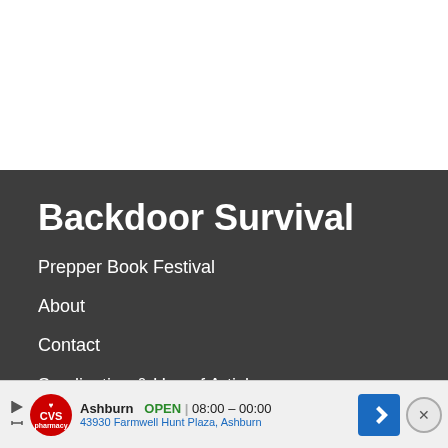Backdoor Survival
Prepper Book Festival
About
Contact
Syndication & Use of Articles
Privacy Policy
Terms of Use
Disclaim…
[Figure (screenshot): CVS Pharmacy advertisement bar showing Ashburn location open 08:00-00:00 at 43930 Farmwell Hunt Plaza with navigation arrow icon and close button]